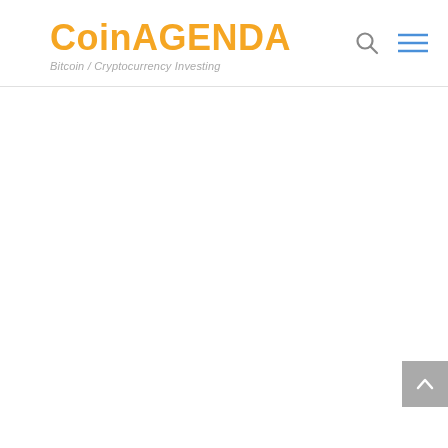CoinAGENDA Bitcoin / Cryptocurrency Investing
[Figure (logo): CoinAGENDA logo with orange bold text and gray italic subtitle 'Bitcoin / Cryptocurrency Investing', plus search and menu icons on the right]